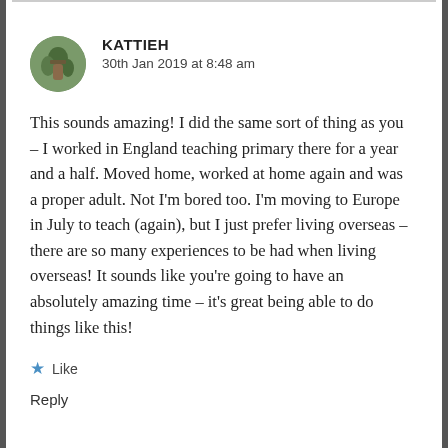KATTIEH
30th Jan 2019 at 8:48 am
This sounds amazing! I did the same sort of thing as you – I worked in England teaching primary there for a year and a half. Moved home, worked at home again and was a proper adult. Not I'm bored too. I'm moving to Europe in July to teach (again), but I just prefer living overseas – there are so many experiences to be had when living overseas! It sounds like you're going to have an absolutely amazing time – it's great being able to do things like this!
★ Like